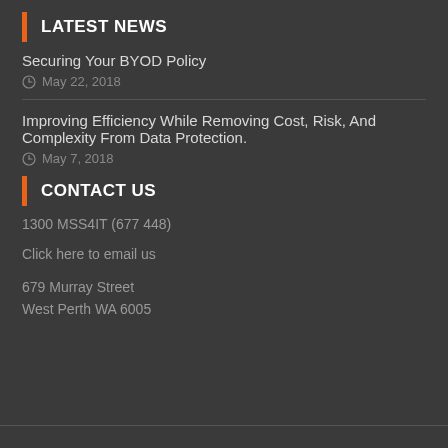LATEST NEWS
Securing Your BYOD Policy
May 22, 2018
Improving Efficiency While Removing Cost, Risk, And Complexity From Data Protection.
May 7, 2018
CONTACT US
1300 MSS4IT (677 448)
Click here to email us
679 Murray Street
West Perth WA 6005